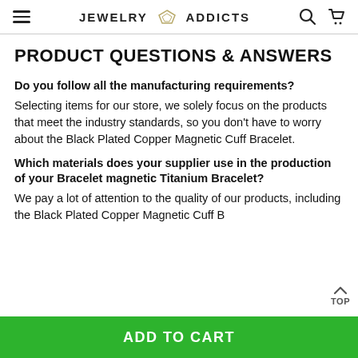JEWELRY ADDICTS
PRODUCT QUESTIONS & ANSWERS
Do you follow all the manufacturing requirements?
Selecting items for our store, we solely focus on the products that meet the industry standards, so you don't have to worry about the Black Plated Copper Magnetic Cuff Bracelet.
Which materials does your supplier use in the production of your Bracelet magnetic Titanium Bracelet?
We pay a lot of attention to the quality of our produ including the Black Plated Copper Magnetic Cuff B